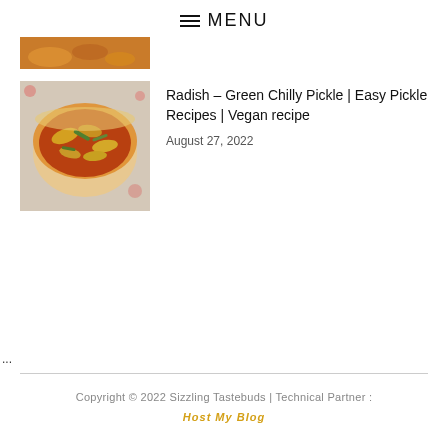≡ MENU
[Figure (photo): Partial top of food image cropped at top of page]
[Figure (photo): Bowl of radish and green chilly pickle in orange/red gravy with visible pickle pieces]
Radish – Green Chilly Pickle | Easy Pickle Recipes | Vegan recipe
August 27, 2022
...
Copyright © 2022 Sizzling Tastebuds | Technical Partner : Host My Blog